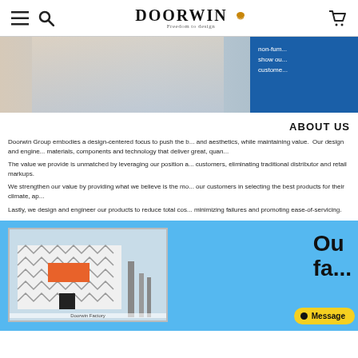Doorwin — navigation bar with menu, search, logo, and cart icons
[Figure (photo): Hero banner showing a person in a striped shirt near windows, with a blue overlay box on the right containing partial text about non-functional show customers]
ABOUT US
Doorwin Group embodies a design-centered focus to push the b... and aesthetics, while maintaining value. Our design and engine... materials, components and technology that deliver great, quan...
The value we provide is unmatched by leveraging our position a... customers, eliminating traditional distributor and retail markups.
We strengthen our value by providing what we believe is the m... our customers in selecting the best products for their climate, ap...
Lastly, we design and engineer our products to reduce total cos... minimizing failures and promoting ease-of-servicing.
[Figure (photo): Light blue background section showing a factory building photo on the left with chevron-patterned white facade and orange Doorwin sign, and large bold text 'Ou... fa...' on the right. A yellow Message button is in the bottom-right corner.]